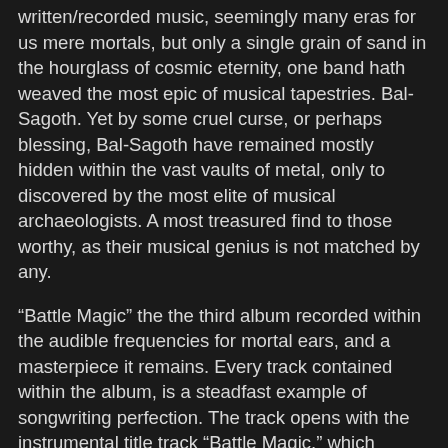written/recorded music, seemingly many eras for us mere mortals, but only a single grain of sand in the hourglass of cosmic eternity, one band hath weaved the most epic of musical tapestries. Bal-Sagoth. Yet by some cruel curse, or perhaps blessing, Bal-Sagoth have remained mostly hidden within the vast vaults of metal, only to discovered by the most elite of musical archaeologists. A most treasured find to those worthy, as their musical genius is not matched by any.
“Battle Magic” the the third album recorded within the audible frequencies for mortal ears, and a masterpiece it remains. Every track contained within the album, is a steadfast example of songwriting perfection. The track opens with the instrumental title track “Battle Magic,” which gradually gets you musically acclimated to the Bal-Sagoth universe before they sound the battle horns in “Naked Steel (The Warrior’s Saga).” This song starts the album off perfectly, it makes me want to unsheath my dragon emblem sword, climb into my